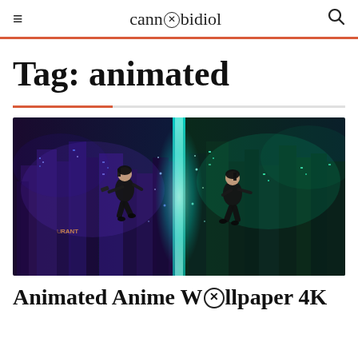≡   cannabidiol   🔍
Tag: animated
[Figure (photo): Cyberpunk anime-style artwork showing two female characters in black outfits leaping in a futuristic city, split between blue-purple and teal-green lighting, with glowing energy beam in the center]
Animated Anime Wallpaper 4K